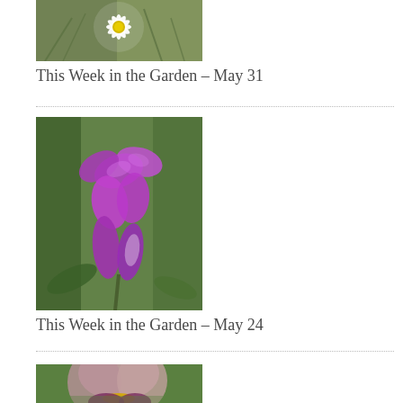[Figure (photo): White daisy flower with yellow center against green foliage background]
This Week in the Garden – May 31
[Figure (photo): Purple/magenta orchid-like flowers (likely Pleione or similar) with green foliage background]
This Week in the Garden – May 24
[Figure (photo): Pale pink/mauve bearded iris with yellow beard, green groundcover background]